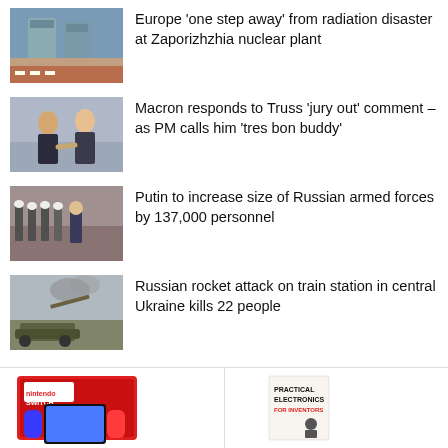[Figure (photo): Zaporizhzhia nuclear plant exterior photo]
Europe ‘one step away’ from radiation disaster at Zaporizhzhia nuclear plant
[Figure (photo): Macron and another official doing elbow bump]
Macron responds to Truss ‘jury out’ comment – as PM calls him ‘tres bon buddy’
[Figure (photo): Putin reviewing military personnel in white helmets]
Putin to increase size of Russian armed forces by 137,000 personnel
[Figure (photo): Military vehicle in Ukraine landscape]
Russian rocket attack on train station in central Ukraine kills 22 people
[Figure (photo): Nintendo Switch box advertisement]
[Figure (photo): Practical Electronics for Inventors book advertisement]